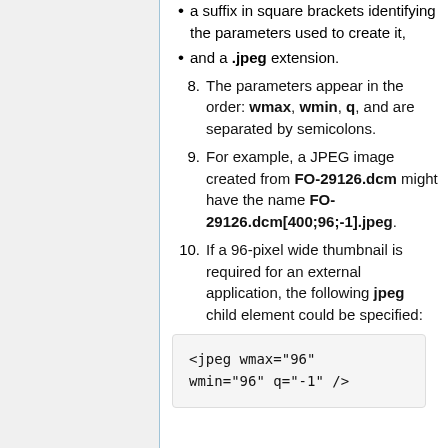a suffix in square brackets identifying the parameters used to create it,
and a .jpeg extension.
8. The parameters appear in the order: wmax, wmin, q, and are separated by semicolons.
9. For example, a JPEG image created from FO-29126.dcm might have the name FO-29126.dcm[400;96;-1].jpeg.
10. If a 96-pixel wide thumbnail is required for an external application, the following jpeg child element could be specified:
<jpeg wmax="96" wmin="96" q="-1" />